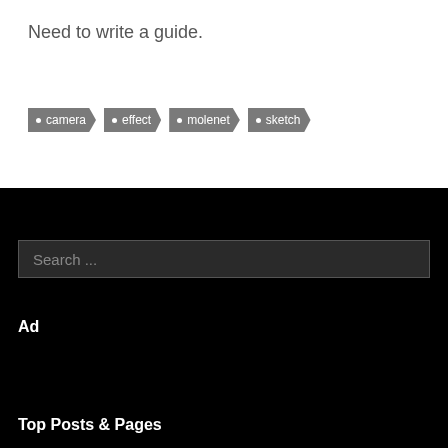Need to write a guide.
camera
effect
molenet
sketch
Search ...
Ad
Top Posts & Pages